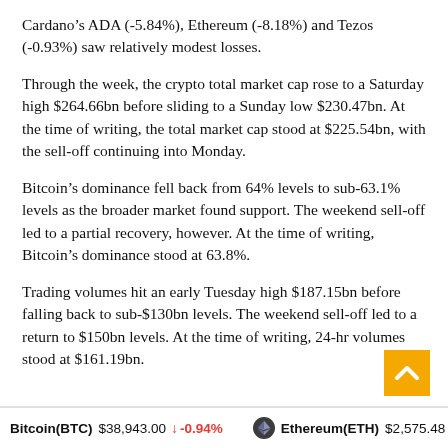Cardano's ADA (-5.84%), Ethereum (-8.18%) and Tezos (-0.93%) saw relatively modest losses.
Through the week, the crypto total market cap rose to a Saturday high $264.66bn before sliding to a Sunday low $230.47bn. At the time of writing, the total market cap stood at $225.54bn, with the sell-off continuing into Monday.
Bitcoin's dominance fell back from 64% levels to sub-63.1% levels as the broader market found support. The weekend sell-off led to a partial recovery, however. At the time of writing, Bitcoin's dominance stood at 63.8%.
Trading volumes hit an early Tuesday high $187.15bn before falling back to sub-$130bn levels. The weekend sell-off led to a return to $150bn levels. At the time of writing, 24-hr volumes stood at $161.19bn.
Bitcoin(BTC) $38,943.00 ↓ -0.94%   Ethereum(ETH) $2,575.48